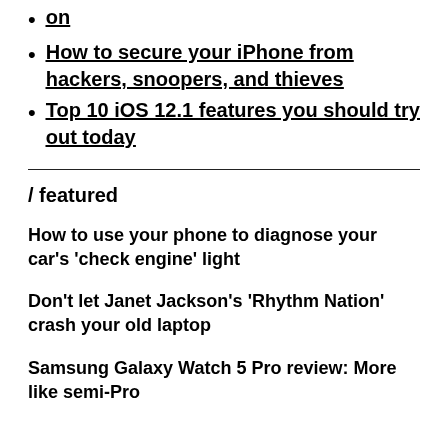on
How to secure your iPhone from hackers, snoopers, and thieves
Top 10 iOS 12.1 features you should try out today
/ featured
How to use your phone to diagnose your car's 'check engine' light
Don't let Janet Jackson's 'Rhythm Nation' crash your old laptop
Samsung Galaxy Watch 5 Pro review: More like semi-Pro